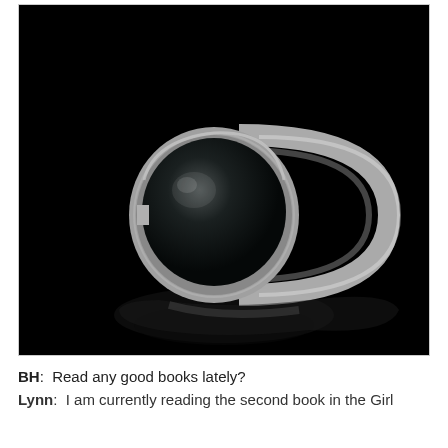[Figure (photo): A silver ring with a large dark/black cabochon stone, photographed on a black reflective surface. The ring and its reflection are visible. High contrast dramatic lighting against a black background.]
BH:  Read any good books lately?
Lynn:  I am currently reading the second book in the Girl